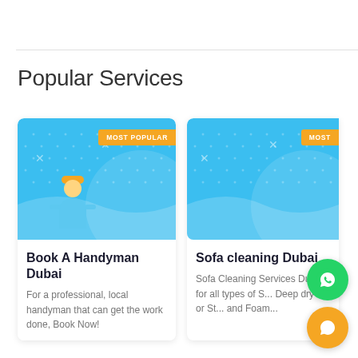Popular Services
[Figure (illustration): Service card for Book A Handyman Dubai with blue background, handyman icon, and MOST POPULAR badge]
Book A Handyman Dubai
For a professional, local handyman that can get the work done, Book Now!
[Figure (illustration): Partial service card for Sofa cleaning Dubai with blue background and MOST POPULAR badge (partially visible)]
Sofa cleaning Dubai
Sofa Cleaning Services Dubai for all types of S... Deep dry c... or St... and Foam...